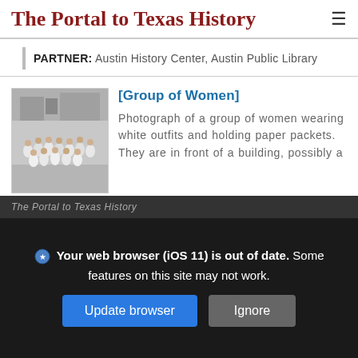The Portal to Texas History
PARTNER: Austin History Center, Austin Public Library
[Group of Women]
[Figure (photo): Black and white photograph of a group of women wearing white outfits and holding paper packets, standing in front of a building.]
Photograph of a group of women wearing white outfits and holding paper packets. They are in front of a building, possibly a
The Portal to Texas History
Your web browser (iOS 11) is out of date. Some features on this site may not work. [Update browser] [Ignore]